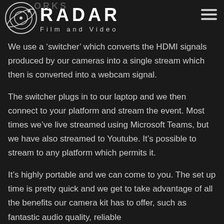[Figure (logo): Radar Film and Video logo with circular radar icon and text]
We use a ‘switcher’ which converts the HDMI signals produced by our cameras into a single stream which then is converted into a webcam signal.
The switcher plugs in to our laptop and we then connect to your platform and stream the event. Most times we’ve live streamed using Microsoft Teams, but we have also streamed to Youtube. It’s possible to stream to any platform which permits it.
It’s highly portable and we can come to you. The set up time is pretty quick and we get to take advantage of all the benefits our camera kit has to offer, such as fantastic audio quality, reliable